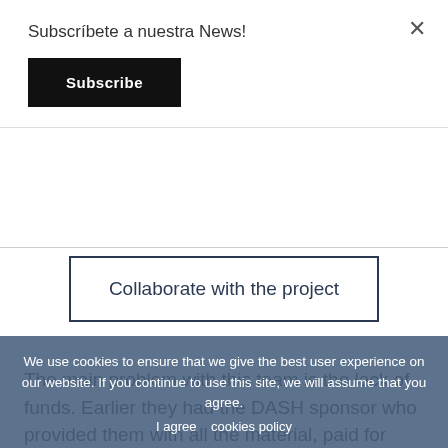Subscríbete a nuestra News!
Subscribe
Collaborate with the project
The main problem with this team is the lack of funds. Earlier they had the DASH sponsor who provided them with all the material, paid for their league registrations and provided them with a monthly amount to pay the coaches' salaries. Due to lack of funds, the sponsor
We use cookies to ensure that we give the best user experience on our website. If you continue to use this site, we will assume that you agree.
I agree   cookies policy